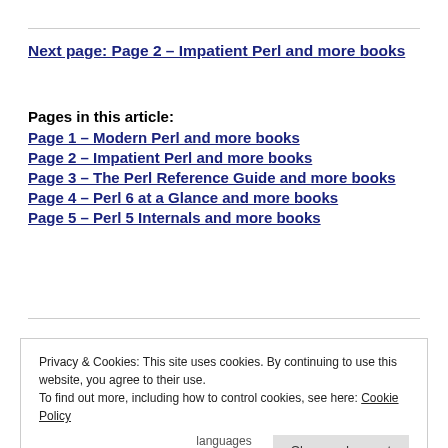Next page: Page 2 – Impatient Perl and more books
Pages in this article:
Page 1 – Modern Perl and more books
Page 2 – Impatient Perl and more books
Page 3 – The Perl Reference Guide and more books
Page 4 – Perl 6 at a Glance and more books
Page 5 – Perl 5 Internals and more books
Privacy & Cookies: This site uses cookies. By continuing to use this website, you agree to their use. To find out more, including how to control cookies, see here: Cookie Policy
Close and accept
languages